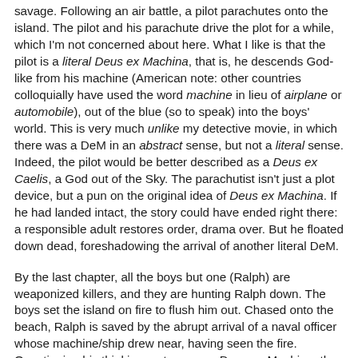savage. Following an air battle, a pilot parachutes onto the island. The pilot and his parachute drive the plot for a while, which I'm not concerned about here. What I like is that the pilot is a literal Deus ex Machina, that is, he descends God-like from his machine (American note: other countries colloquially have used the word machine in lieu of airplane or automobile), out of the blue (so to speak) into the boys' world. This is very much unlike my detective movie, in which there was a DeM in an abstract sense, but not a literal sense. Indeed, the pilot would be better described as a Deus ex Caelis, a God out of the Sky. The parachutist isn't just a plot device, but a pun on the original idea of Deus ex Machina. If he had landed intact, the story could have ended right there: a responsible adult restores order, drama over. But he floated down dead, foreshadowing the arrival of another literal DeM.
By the last chapter, all the boys but one (Ralph) are weaponized killers, and they are hunting Ralph down. The boys set the island on fire to flush him out. Chased onto the beach, Ralph is saved by the abrupt arrival of a naval officer whose machine/ship drew near, having seen the fire. Questioning his thinking, out comes a Deus ex Machina, the